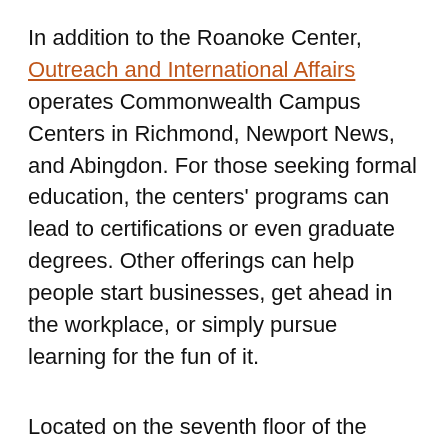In addition to the Roanoke Center, Outreach and International Affairs operates Commonwealth Campus Centers in Richmond, Newport News, and Abingdon. For those seeking formal education, the centers' programs can lead to certifications or even graduate degrees. Other offerings can help people start businesses, get ahead in the workplace, or simply pursue learning for the fun of it.
Located on the seventh floor of the Roanoke Higher Education Center, the Roanoke Center is within easy walking distance of the